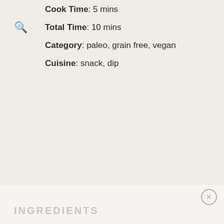Cook Time: 5 mins
Total Time: 10 mins
Category: paleo, grain free, vegan
Cuisine: snack, dip
INGREDIENTS